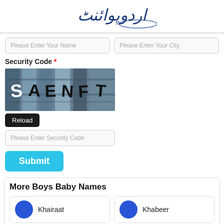[Figure (logo): Urdu script logo for Urdu Point website in dark blue and navy color]
Please Enter Your Name
Please Enter Your City
Security Code *
[Figure (screenshot): CAPTCHA image showing letters S A E N F T on a grey distorted background]
Reload
Please Enter Security Code
Submit
More Boys Baby Names
Khairaat
Khabeer
Ghidah
Qasiem